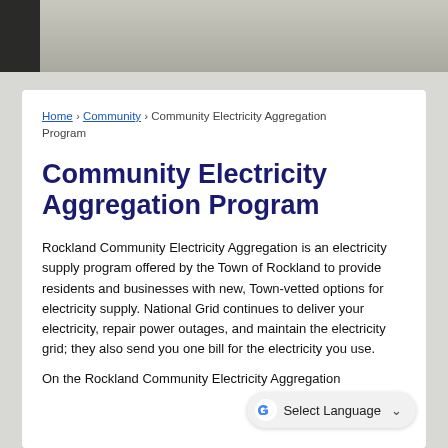[Figure (photo): Aerial or street-level photo strip showing a road/pavement scene, partially cut off at top]
Home › Community › Community Electricity Aggregation Program
Community Electricity Aggregation Program
Rockland Community Electricity Aggregation is an electricity supply program offered by the Town of Rockland to provide residents and businesses with new, Town-vetted options for electricity supply. National Grid continues to deliver your electricity, repair power outages, and maintain the electricity grid; they also send you one bill for the electricity you use.
On the Rockland Community Electricity Aggregation